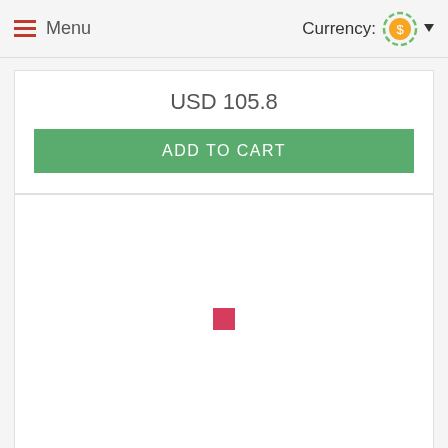Menu   Currency:
USD 105.8
ADD TO CART
[Figure (photo): Product image area with a small red square placeholder in the center on white background]
Basket Of Delights ..
This gift basket is a great way to show your appreciation for a job...